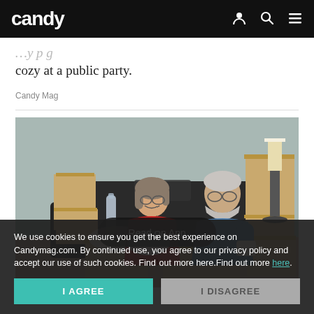candy
cozy at a public party.
Candy Mag
[Figure (photo): An older couple sitting on a dark leather sofa surrounded by cardboard moving boxes. The woman on the left wears a red sweater and glasses; the man on the right wears a blue shirt and glasses and holds a mug. They are smiling and talking. A lamp and more boxes are visible in the background.]
Read on App
We use cookies to ensure you get the best experience on Candymag.com. By continued use, you agree to our privacy policy and accept our use of such cookies. Find out more here.Find out more here.
I AGREE
I DISAGREE